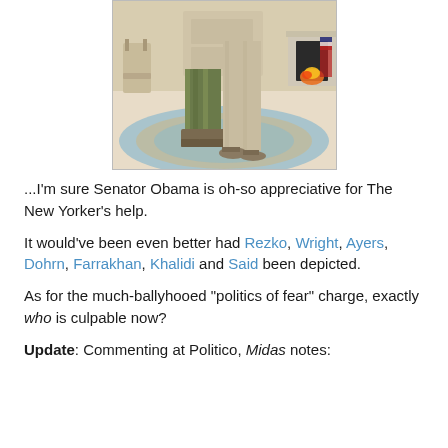[Figure (illustration): Cartoon illustration cropped to show lower halves of two figures standing on an oval rug in what appears to be the Oval Office. One figure wears military camouflage pants and boots; the other wears a long robe and sandals. A fireplace with an American flag is visible in the background.]
...I'm sure Senator Obama is oh-so appreciative for The New Yorker's help.
It would've been even better had Rezko, Wright, Ayers, Dohrn, Farrakhan, Khalidi and Said been depicted.
As for the much-ballyhooed "politics of fear" charge, exactly who is culpable now?
Update: Commenting at Politico, Midas notes: